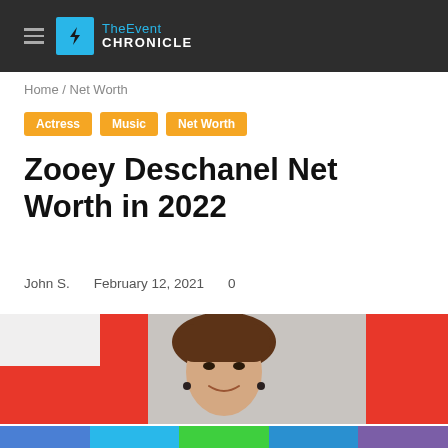TheEvent CHRONICLE
Home / Net Worth
Actress
Music
Net Worth
Zooey Deschanel Net Worth in 2022
John S.   February 12, 2021   0
[Figure (photo): Photo of Zooey Deschanel against a red and grey background]